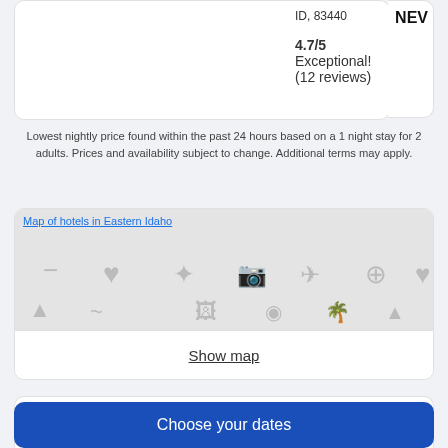ID, 83440
4.7/5 Exceptional! (12 reviews)
NEV
Lowest nightly price found within the past 24 hours based on a 1 night stay for 2 adults. Prices and availability subject to change. Additional terms may apply.
[Figure (map): Map of hotels in Eastern Idaho - placeholder map image with travel icons]
Show map
Cheap Hotels in Eastern Idaho
Pack your bags—it's time to embark on a getaway. Whether you're craving a solo retreat or promising your family a vacation
Choose your dates